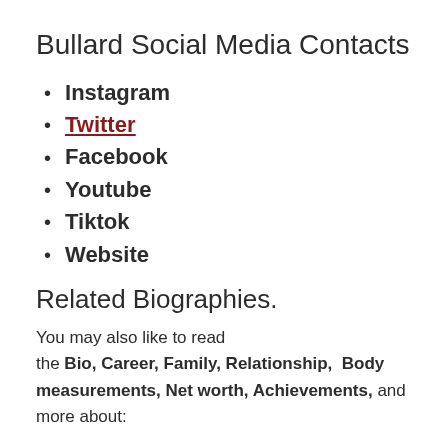Bullard Social Media Contacts
Instagram
Twitter
Facebook
Youtube
Tiktok
Website
Related Biographies.
You may also like to read the Bio, Career, Family, Relationship, Body measurements, Net worth, Achievements, and more about: